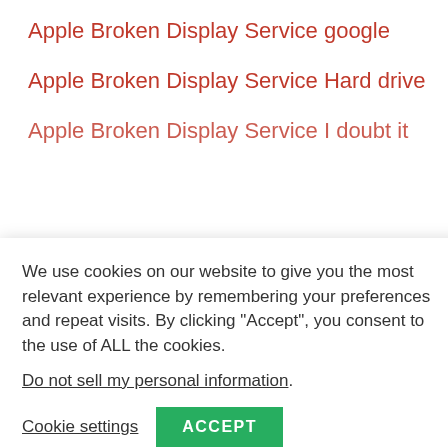Apple Broken Display Service google
Apple Broken Display Service Hard drive
Apple Broken Display Service I doubt it
We use cookies on our website to give you the most relevant experience by remembering your preferences and repeat visits. By clicking “Accept”, you consent to the use of ALL the cookies.
Do not sell my personal information.
Cookie settings   ACCEPT
Apple Broken Display Service remotecontrol
Apple Recalls
applestore